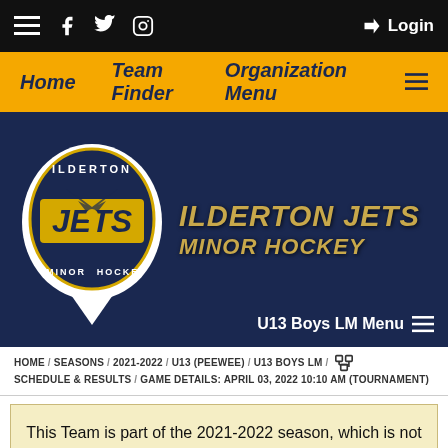≡  Facebook  Twitter  Instagram  ➡ Login
Home  Team Finder  Organization Menu ≡
[Figure (logo): Ilderton Jets Minor Hockey circular logo with yellow and navy blue colors, airplane graphic, and text JETS center]
ILDERTON JETS MINOR HOCKEY
U13 Boys LM Menu ≡
HOME / SEASONS / 2021-2022 / U13 (PEEWEE) / U13 BOYS LM / SCHEDULE & RESULTS / GAME DETAILS: APRIL 03, 2022 10:10 AM (TOURNAMENT)
This Team is part of the 2021-2022 season, which is not set as the current season.